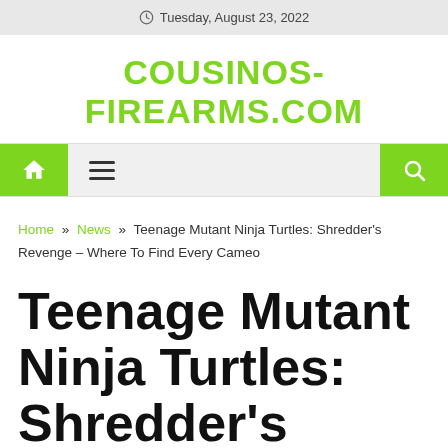Tuesday, August 23, 2022
COUSINOS-FIREARMS.COM
[Figure (other): Navigation bar with home icon button, hamburger menu icon, and search icon button in green squares]
Home » News » Teenage Mutant Ninja Turtles: Shredder's Revenge – Where To Find Every Cameo
Teenage Mutant Ninja Turtles: Shredder's Revenge